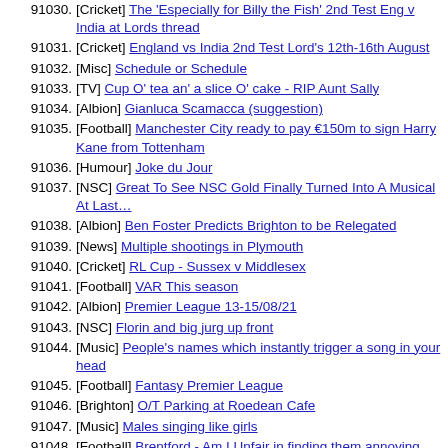91030. [Cricket] The 'Especially for Billy the Fish' 2nd Test Eng v India at Lords thread
91031. [Cricket] England vs India 2nd Test Lord's 12th-16th August
91032. [Misc] Schedule or Schedule
91033. [TV] Cup O' tea an' a slice O' cake - RIP Aunt Sally
91034. [Albion] Gianluca Scamacca (suggestion)
91035. [Football] Manchester City ready to pay €150m to sign Harry Kane from Tottenham
91036. [Humour] Joke du Jour
91037. [NSC] Great To See NSC Gold Finally Turned Into A Musical At Last…
91038. [Albion] Ben Foster Predicts Brighton to be Relegated
91039. [News] Multiple shootings in Plymouth
91040. [Cricket] RL Cup - Sussex v Middlesex
91041. [Football] VAR This season
91042. [Albion] Premier League 13-15/08/21
91043. [NSC] Florin and big jurg up front
91044. [Music] People's names which instantly trigger a song in your head
91045. [Football] Fantasy Premier League
91046. [Brighton] O/T Parking at Roedean Cafe
91047. [Music] Males singing like girls
91048. [Football] Brentford - Am I Unfair in finding them annoying even before they've kicked a ball?
91049. [NSC] Korean signs
91050. [Albion] To get you in the mood for the big kick off tonight...
91051. [Football] Dream Team
91052. [Albion] Membership packs